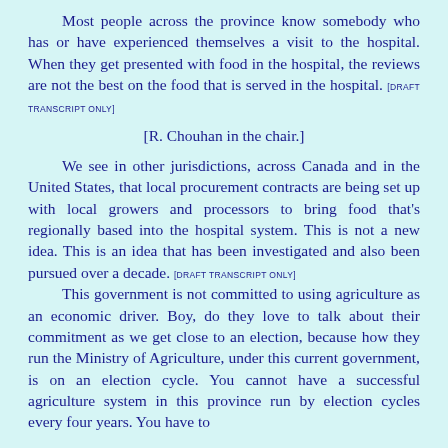Most people across the province know somebody who has or have experienced themselves a visit to the hospital. When they get presented with food in the hospital, the reviews are not the best on the food that is served in the hospital. [DRAFT TRANSCRIPT ONLY]
[R. Chouhan in the chair.]
We see in other jurisdictions, across Canada and in the United States, that local procurement contracts are being set up with local growers and processors to bring food that's regionally based into the hospital system. This is not a new idea. This is an idea that has been investigated and also been pursued over a decade. [DRAFT TRANSCRIPT ONLY]
This government is not committed to using agriculture as an economic driver. Boy, do they love to talk about their commitment as we get close to an election, because how they run the Ministry of Agriculture, under this current government, is on an election cycle. You cannot have a successful agriculture system in this province run by election cycles every four years. You have to